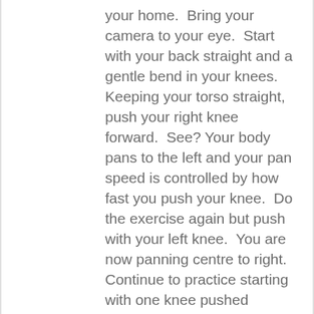your home.  Bring your camera to your eye.  Start with your back straight and a gentle bend in your knees.  Keeping your torso straight, push your right knee forward.  See?  Your body pans to the left and your pan speed is controlled by how fast you push your knee.  Do the exercise again but push with your left knee.  You are now panning centre to right.  Continue to practice starting with one knee pushed forward and then bring it back, gently switching the push to the other knee.  This will give you a rather wide and quite smooth pan.  Doing a panning motion well requires practice and then matching the knee push to the speed of the subject.